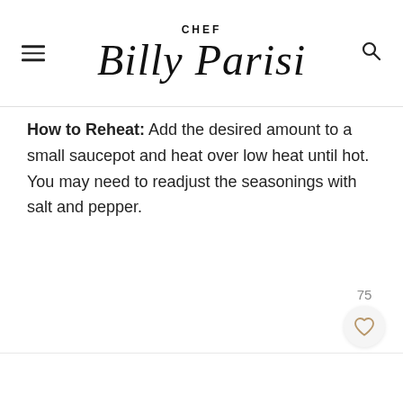CHEF Billy Parisi
How to Reheat: Add the desired amount to a small saucepot and heat over low heat until hot.  You may need to readjust the seasonings with salt and pepper.